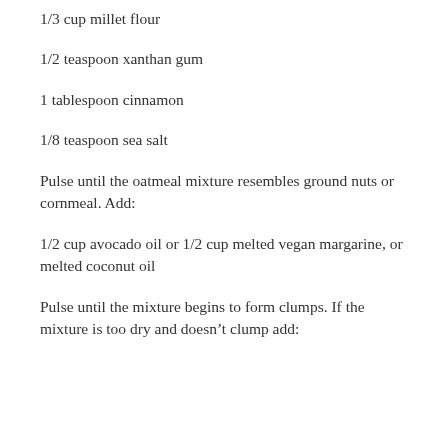1/3 cup millet flour
1/2 teaspoon xanthan gum
1 tablespoon cinnamon
1/8 teaspoon sea salt
Pulse until the oatmeal mixture resembles ground nuts or cornmeal. Add:
1/2 cup avocado oil or 1/2 cup melted vegan margarine, or melted coconut oil
Pulse until the mixture begins to form clumps. If the mixture is too dry and doesn’t clump add: